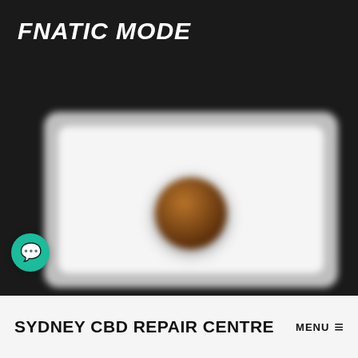FNATIC MODE
[Figure (screenshot): A blurred white card with a dark coin/badge element in the center, overlaid on a dark background. A teal chat bubble icon appears on the left side.]
SYDNEY CBD REPAIR CENTRE MENU ≡